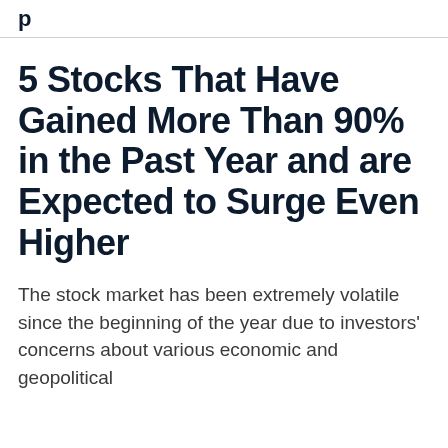p
5 Stocks That Have Gained More Than 90% in the Past Year and are Expected to Surge Even Higher
The stock market has been extremely volatile since the beginning of the year due to investors' concerns about various economic and geopolitical